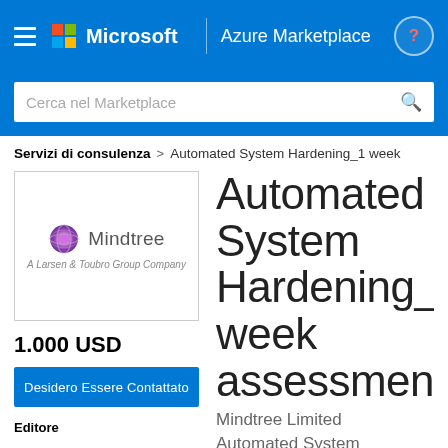[Figure (screenshot): Microsoft Azure Marketplace navigation bar with hamburger menu, Microsoft logo and Azure Marketplace text with help button]
[Figure (screenshot): Search bar with placeholder text 'Cerca nel Marketplace']
Servizi di consulenza > Automated System Hardening_1 week
[Figure (logo): Mindtree - A Larsen & Toubro Group Company logo in a bordered box]
1.000 USD
Desidero Essere Contattato
Editore
Automated System Hardening_1 week assessment
Mindtree Limited
Automated System